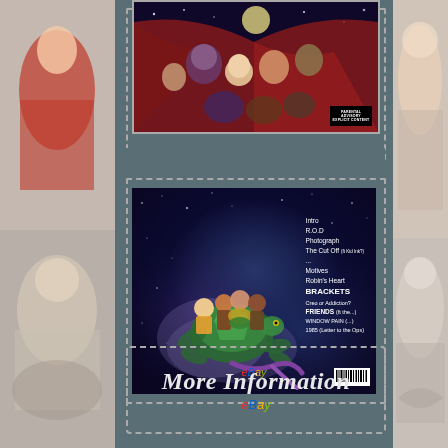[Figure (photo): Top album cover art showing animated cartoon characters under a night sky with red cape, with Parental Advisory label]
[Figure (photo): Back of album showing animated cartoon children flying through space on a giant turtle, with tracklist including: Intro, R.O.D, Photograph, The Cut Off (ft. Kid Ink?), Motives, Robin's Heart, BRACKETS, Creo or Addiction?, FRIENDS (ft....), Window Pain (...), 1985 (Letter to the Ops). eBay watermark and barcode visible.]
[Figure (infographic): More Information button with eBay logo and dashed border]